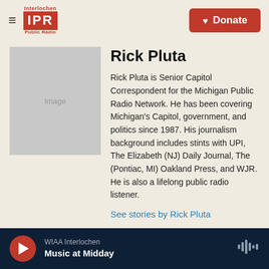[Figure (logo): Interlochen IPR Public Radio logo with red IPR block letters]
[Figure (logo): Red Donate button with heart icon]
[Figure (photo): Placeholder image box for Rick Pluta]
Rick Pluta
Rick Pluta is Senior Capitol Correspondent for the Michigan Public Radio Network. He has been covering Michigan's Capitol, government, and politics since 1987. His journalism background includes stints with UPI, The Elizabeth (NJ) Daily Journal, The (Pontiac, MI) Oakland Press, and WJR. He is also a lifelong public radio listener.
See stories by Rick Pluta
WIAA Interlochen Music at Midday